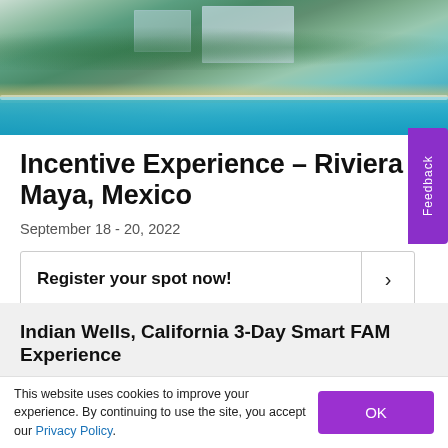[Figure (photo): Aerial view of a resort hotel complex on the coast of Riviera Maya, Mexico, with lush green palm trees, sandy beach, and turquoise ocean water]
Incentive Experience – Riviera Maya, Mexico
September 18 - 20, 2022
Register your spot now!
Indian Wells, California 3-Day Smart FAM Experience
This website uses cookies to improve your experience. By continuing to use the site, you accept our Privacy Policy.